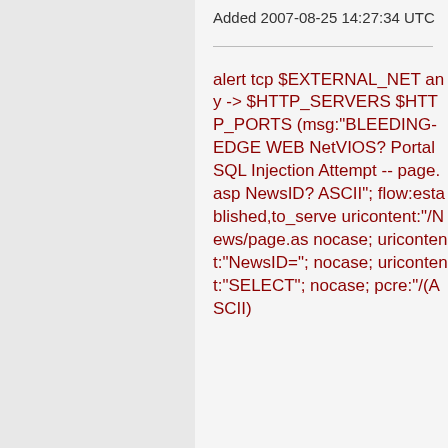Added 2007-08-25 14:27:34 UTC
alert tcp $EXTERNAL_NET any -> $HTTP_SERVERS $HTTP_PORTS (msg:"BLEEDING-EDGE WEB NetVIOS? Portal SQL Injection Attempt -- page.asp NewsID? ASCII"; flow:established,to_server; uricontent:"/News/page.as; nocase; uricontent:"NewsID="; nocase; uricontent:"SELECT"; nocase; pcre:"/(ASCII)